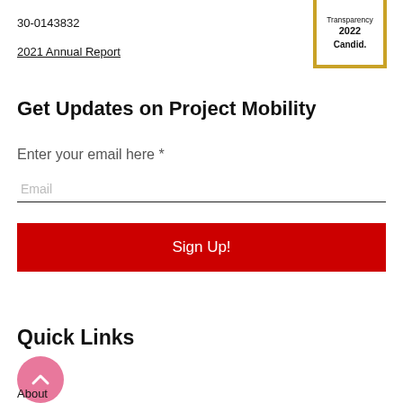30-0143832
[Figure (other): Candid Transparency 2022 gold-bordered badge]
2021 Annual Report
Get Updates on Project Mobility
Enter your email here *
Email
Sign Up!
Quick Links
About